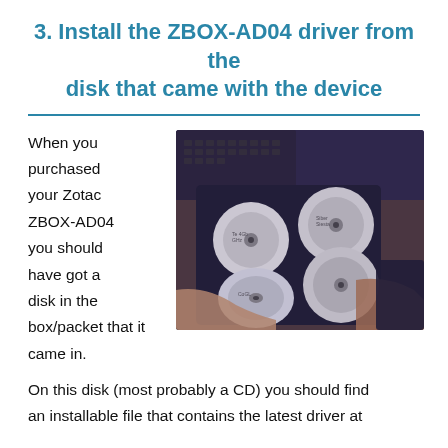3. Install the ZBOX-AD04 driver from the disk that came with the device
[Figure (photo): Hands holding an open CD/DVD wallet with multiple discs, keyboard visible in background]
When you purchased your Zotac ZBOX-AD04 you should have got a disk in the box/packet that it came in.
On this disk (most probably a CD) you should find an installable file that contains the latest driver at